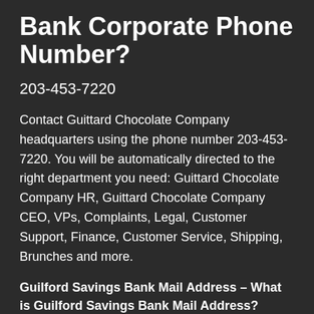Bank Corporate Phone Number?
203-453-7220
Contact Guittard Chocolate Company headquarters using the phone number 203-453-7220. You will be automatically directed to the right department you need: Guittard Chocolate Company HR, Guittard Chocolate Company CEO, VPs, Complaints, Legal, Customer Support, Finance, Customer Service, Shipping, Brunches and more.
Guilford Savings Bank Mail Address – What is Guilford Savings Bank Mail Address?
Guilford Savings Bank
625 BOSTON POST RD
Guilford, CT 06437-2711